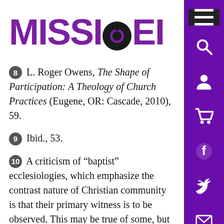MISSIO DEI
8 L. Roger Owens, The Shape of Participation: A Theology of Church Practices (Eugene, OR: Cascade, 2010), 59.
9 Ibid., 53.
10 A criticism of “baptist” ecclesiologies, which emphasize the contrast nature of Christian community is that their primary witness is to be observed. This may be true of some, but certainly is not for McClendon who has a developed notion of how Christian practices engage “principalities and powers”